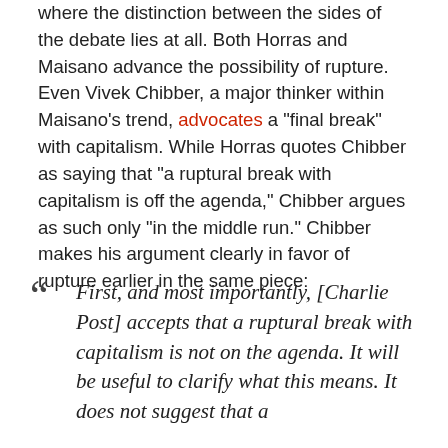where the distinction between the sides of the debate lies at all. Both Horras and Maisano advance the possibility of rupture. Even Vivek Chibber, a major thinker within Maisano's trend, advocates a "final break" with capitalism. While Horras quotes Chibber as saying that "a ruptural break with capitalism is off the agenda," Chibber argues as such only "in the middle run." Chibber makes his argument clearly in favor of rupture earlier in the same piece:
First, and most importantly, [Charlie Post] accepts that a ruptural break with capitalism is not on the agenda. It will be useful to clarify what this means. It does not suggest that a